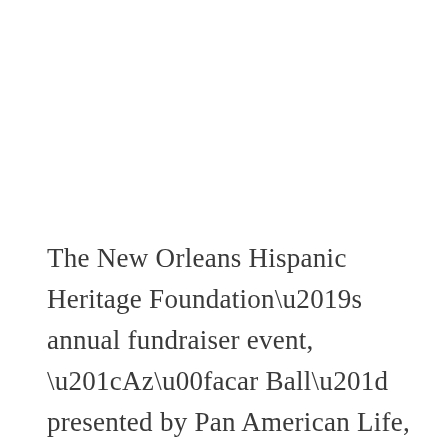The New Orleans Hispanic Heritage Foundation’s annual fundraiser event, “Azúcar Ball” presented by Pan American Life, provides funding for the foundation’s mission to encourage and support talented Hispanic high-school students by providing them with educational scholarships via the NOHHF Scholarship Program. The gala, themed “Una